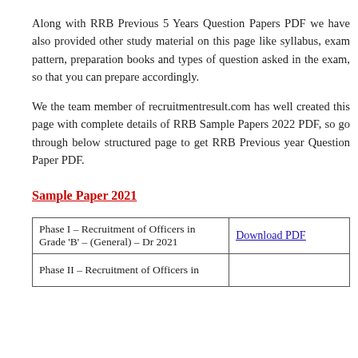Along with RRB Previous 5 Years Question Papers PDF we have also provided other study material on this page like syllabus, exam pattern, preparation books and types of question asked in the exam, so that you can prepare accordingly.
We the team member of recruitmentresult.com has well created this page with complete details of RRB Sample Papers 2022 PDF, so go through below structured page to get RRB Previous year Question Paper PDF.
Sample Paper 2021
|  |  |
| --- | --- |
| Phase I – Recruitment of Officers in Grade 'B' – (General) – Dr 2021 | Download PDF |
| Phase II – Recruitment of Officers in |  |